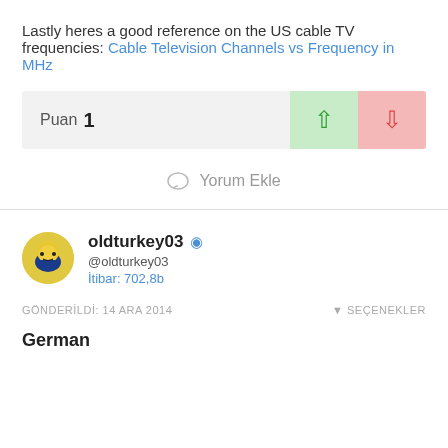Lastly heres a good reference on the US cable TV frequencies: Cable Television Channels vs Frequency in MHz
Puan 1
Yorum Ekle
oldturkey03 @oldturkey03 İtibar: 702,8b
GÖNDERİLDİ: 14 ARA 2014  SEÇENEKLER
German